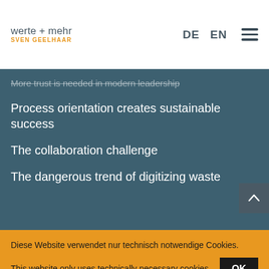werte + mehr SVEN GEELHAAR  DE  EN
More trust is needed in modern leadership
Process orientation creates sustainable success
The collaboration challenge
The dangerous trend of digitizing waste
Diese Website verwendet nur technisch notwendige Cookies.
This website only uses technically necessary cookies.
Read more